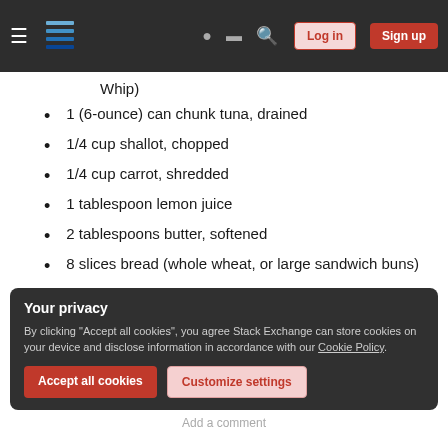Stack Exchange navigation bar with Log in and Sign up buttons
Whip)
1 (6-ounce) can chunk tuna, drained
1/4 cup shallot, chopped
1/4 cup carrot, shredded
1 tablespoon lemon juice
2 tablespoons butter, softened
8 slices bread (whole wheat, or large sandwich buns)
Your privacy
By clicking "Accept all cookies", you agree Stack Exchange can store cookies on your device and disclose information in accordance with our Cookie Policy.
Accept all cookies | Customize settings
Add a comment